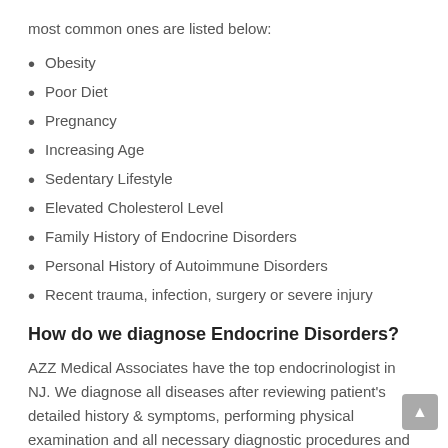most common ones are listed below:
Obesity
Poor Diet
Pregnancy
Increasing Age
Sedentary Lifestyle
Elevated Cholesterol Level
Family History of Endocrine Disorders
Personal History of Autoimmune Disorders
Recent trauma, infection, surgery or severe injury
How do we diagnose Endocrine Disorders?
AZZ Medical Associates have the top endocrinologist in NJ. We diagnose all diseases after reviewing patient's detailed history & symptoms, performing physical examination and all necessary diagnostic procedures and laboratory tests. Our